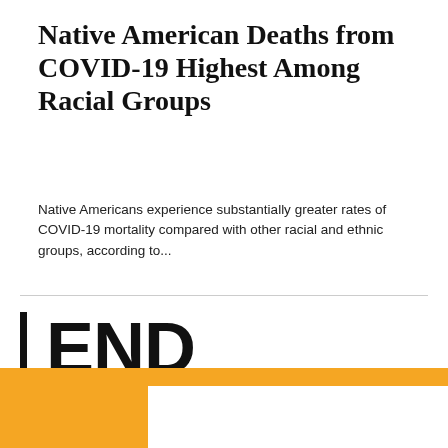Native American Deaths from COVID-19 Highest Among Racial Groups
Native Americans experience substantially greater rates of COVID-19 mortality compared with other racial and ethnic groups, according to...
END NOTES
[Figure (illustration): Orange geometric bracket/corner shape at the bottom of the page]